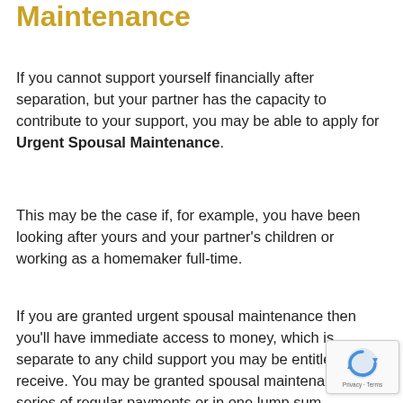Maintenance
If you cannot support yourself financially after separation, but your partner has the capacity to contribute to your support, you may be able to apply for Urgent Spousal Maintenance.
This may be the case if, for example, you have been looking after yours and your partner’s children or working as a homemaker full-time.
If you are granted urgent spousal maintenance then you’ll have immediate access to money, which is separate to any child support you may be entitled to receive. You may be granted spousal maintenance as a series of regular payments or in one lump sum payment. Whether you are granted urgent spousal maintenance depends on your immediate need and the amount awarded is ultimately determined by the court.